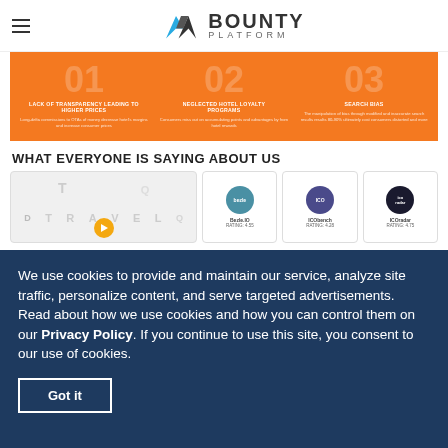Bounty Platform
[Figure (infographic): Orange panel with three numbered sections: 01 LACK OF TRANSPARENCY LEADING TO HIGHER PRICES, 02 NEGLECTED HOTEL LOYALTY PROGRAMS, 03 SEARCH BIAS]
WHAT EVERYONE IS SAYING ABOUT US
[Figure (screenshot): Testimonials row: a travel video thumbnail with letters T,R,A,V,E,L and an orange play button, followed by three review cards: Bezle.IO RATING: 4.55, ICObench RATING: 4.28, ICOradar RATING: 4.75]
We use cookies to provide and maintain our service, analyze site traffic, personalize content, and serve targeted advertisements. Read about how we use cookies and how you can control them on our Privacy Policy. If you continue to use this site, you consent to our use of cookies.
Got it